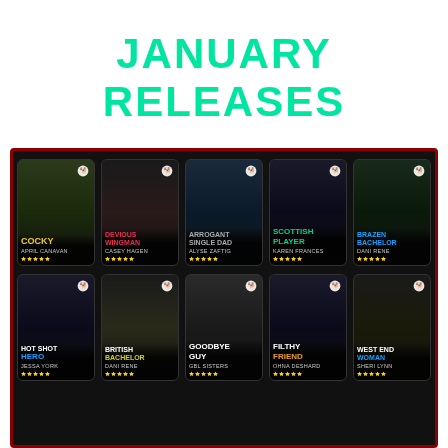JANUARY RELEASES
[Figure (illustration): A grid of 10 romance novel book covers arranged in 2 rows of 5 on a dark background with red border. Row 1: COCKY by April Canavan, DEVIOUS WINGMAN by Casey Hagen, ARROGANT SINGLE DAD by Alyse Zaftig, SCOTTISH PLAYER by Karen Frances, BRAZEN BACHELOR by Dani Rene. Row 2: HOT SHOT HERO by Jessa York, BRITISH BACHELOR by [author], GOODBYE GUY by [author], FILTHY FRIEND by [author], WEST END WOMAN by Sheri Lynn.]